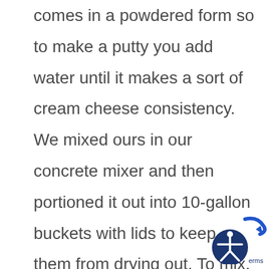comes in a powdered form so to make a putty you add water until it makes a sort of cream cheese consistency. We mixed ours in our concrete mixer and then portioned it out into 10-gallon buckets with lids to keep them from drying out. To mix, we measured the putty out